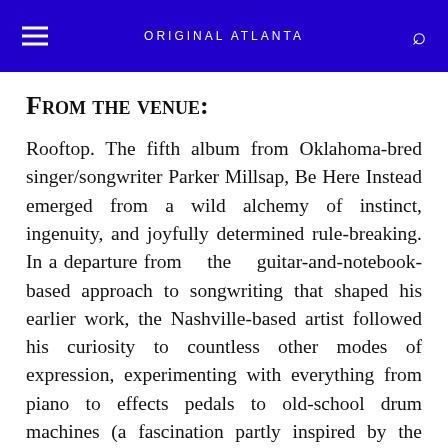ORIGINAL ATLANTA
From the venue:
Rooftop. The fifth album from Oklahoma-bred singer/songwriter Parker Millsap, Be Here Instead emerged from a wild alchemy of instinct, ingenuity, and joyfully determined rule-breaking. In a departure from the guitar-and-notebook-based approach to songwriting that shaped his earlier work, the Nashville-based artist followed his curiosity to countless other modes of expression, experimenting with everything from piano to effects pedals to old-school drum machines (a fascination partly inspired by the early's...